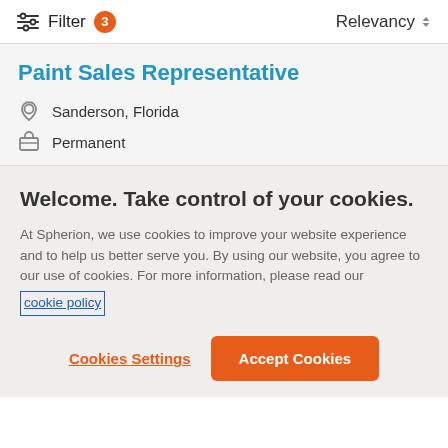Filter 3  Relevancy
Paint Sales Representative
Sanderson, Florida
Permanent
Welcome. Take control of your cookies.
At Spherion, we use cookies to improve your website experience and to help us better serve you. By using our website, you agree to our use of cookies. For more information, please read our cookie policy
Cookies Settings
Accept Cookies